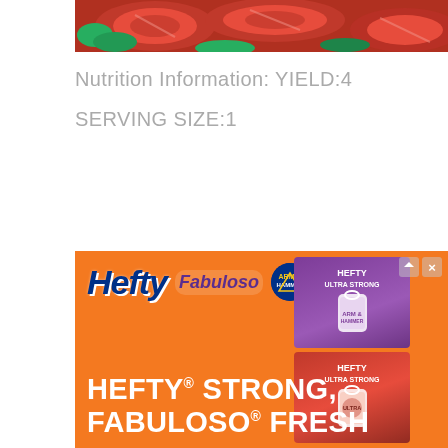[Figure (photo): Partial view of a food photo showing sliced tomatoes and herbs/greens on a plate, cropped at top of page]
Nutrition Information: YIELD:4
SERVING SIZE:1
[Figure (infographic): Hefty advertisement banner with orange background. Shows Hefty logo, Fabuloso logo, Arm & Hammer logo, tagline 'HEFTY STRONG, FABULOSO FRESH', and product box images of Hefty Ultra Strong trash bags in purple and orange packaging.]